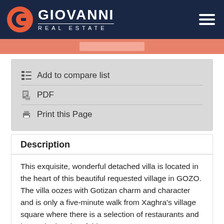GIOVANNI REAL ESTATE
Add to compare list
PDF
Print this Page
Description
This exquisite, wonderful detached villa is located in the heart of this beautiful requested village in GOZO. The villa oozes with Gotizan charm and character and is only a five-minute walk from Xaghra’s village square where there is a selection of restaurants and bars. The interior of this